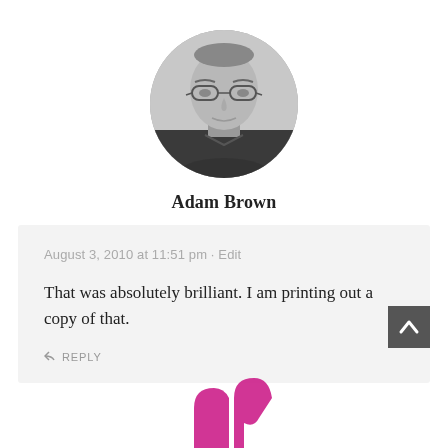[Figure (photo): Black and white circular avatar photo of Adam Brown, a middle-aged man with glasses]
Adam Brown
August 3, 2010 at 11:51 pm · Edit
That was absolutely brilliant. I am printing out a copy of that.
REPLY
[Figure (logo): Partial pink/magenta logo visible at bottom center of page]
[Figure (other): Dark grey back-to-top button with upward chevron arrow, bottom right]